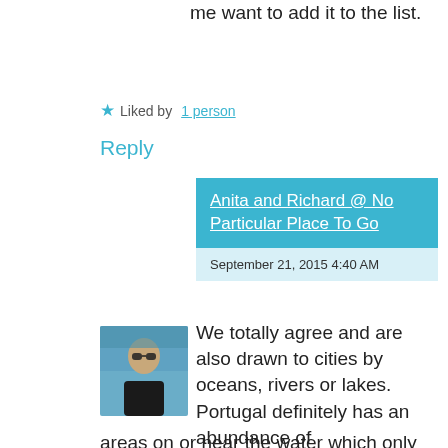me want to add it to the list.
Liked by 1 person
Reply
Anita and Richard @ No Particular Place To Go
September 21, 2015 4:40 AM
[Figure (photo): Profile photo of a woman with sunglasses outdoors near water]
We totally agree and are also drawn to cities by oceans, rivers or lakes. Portugal definitely has an abundance of areas on or near the water which only adds to the country’s total appeal. We think you’d love a visit as well as the opportunity to sample many of the delicious traditional